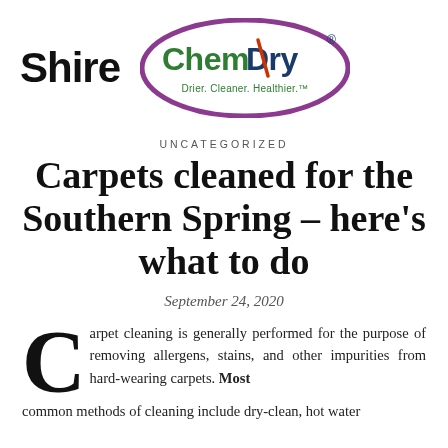[Figure (logo): Shire Chem-Dry logo: 'Shire' text in bold black on the left, and the Chem-Dry oval logo with green 'Chem' and blue 'Dry' text, purple oval border, and tagline 'Drier. Cleaner. Healthier.' on the right]
UNCATEGORIZED
Carpets cleaned for the Southern Spring – here's what to do
September 24, 2020
Carpet cleaning is generally performed for the purpose of removing allergens, stains, and other impurities from hard-wearing carpets. Most common methods of cleaning include dry-clean, hot water